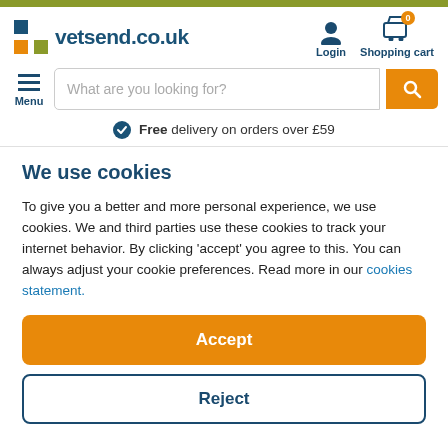[Figure (logo): Vetsend.co.uk logo with blue cross icon and orange/green square elements, plus Login and Shopping cart icons in header]
[Figure (screenshot): Search bar with placeholder 'What are you looking for?' and orange search button]
Free delivery on orders over £59
We use cookies
To give you a better and more personal experience, we use cookies. We and third parties use these cookies to track your internet behavior. By clicking 'accept' you agree to this. You can always adjust your cookie preferences. Read more in our cookies statement.